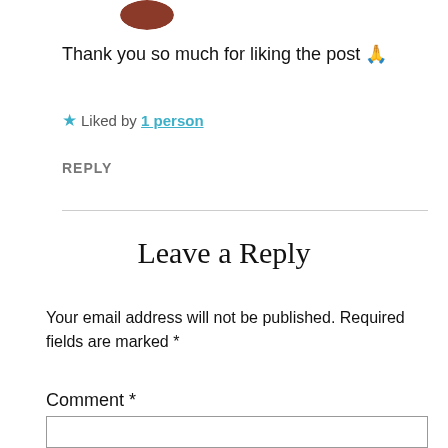[Figure (photo): Partial avatar image of a person, cropped at top]
Thank you so much for liking the post 🙏
★ Liked by 1 person
REPLY
Leave a Reply
Your email address will not be published. Required fields are marked *
Comment *